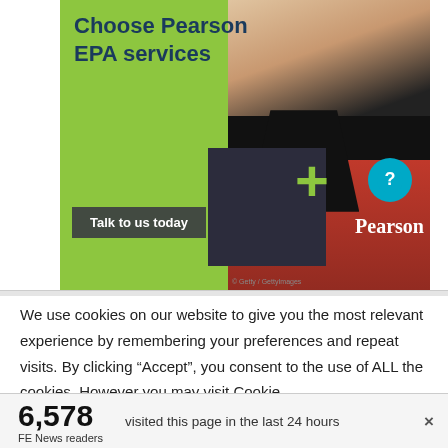[Figure (photo): Pearson EPA services advertisement showing a smiling woman in a red jacket with a Pearson logo badge, green background with a large plus sign, secondary inset photo, and a 'Talk to us today' call-to-action button. Pearson logo with P in teal circle and 'Pearson' text in white.]
We use cookies on our website to give you the most relevant experience by remembering your preferences and repeat visits. By clicking “Accept”, you consent to the use of ALL the cookies. However you may visit Cookie
6,578 visited this page in the last 24 hours
FE News readers